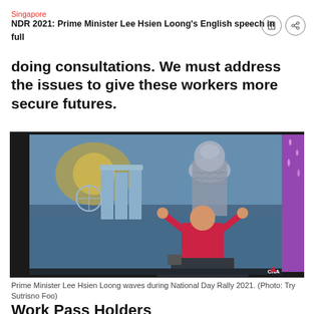Singapore
NDR 2021: Prime Minister Lee Hsien Loong's English speech in full
doing consultations. We must address the issues to give these workers more secure futures.
[Figure (photo): Prime Minister Lee Hsien Loong waves with both hands raised on stage at National Day Rally 2021, with a Merlion and Marina Bay Sands backdrop on a large screen behind him. He is wearing a red shirt. CNA watermark visible at bottom right.]
Prime Minister Lee Hsien Loong waves during National Day Rally 2021. (Photo: Try Sutrisno Foo)
Work Pass Holders